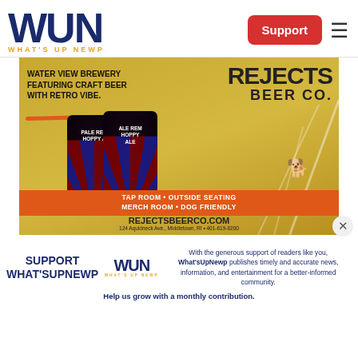[Figure (logo): WUN - What's Up Newp logo, blue bold letters with orange tagline]
Support
[Figure (photo): Rejects Beer Co. advertisement showing two beer cans (Pale Rem Ale, Hoppy Ale) with text: WATER VIEW BREWERY FEATURING CRAFT BEER WITH RETRO VIBE. TAP ROOM • OUTSIDE SEATING MERCH ROOM • DOG FRIENDLY. REJECTSBEERCO.COM 124 Aquidneck Ave., Middletown, RI • 401-619-8200]
SUPPORT WHAT'SUPNEWP
With the generous support of readers like you, What'sUpNewp publishes timely and accurate news, information, and entertainment for a better-informed community. Help us grow with a monthly contribution.